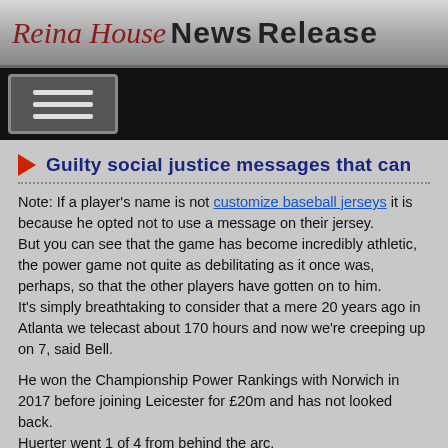Reina House News Release
Guilty social justice messages that can
Note: If a player's name is not customize baseball jerseys it is because he opted not to use a message on their jersey.
But you can see that the game has become incredibly athletic, the power game not quite as debilitating as it once was, perhaps, so that the other players have gotten on to him.
It's simply breathtaking to consider that a mere 20 years ago in Atlanta we telecast about 170 hours and now we're creeping up on 7, said Bell.
He won the Championship Power Rankings with Norwich in 2017 before joining Leicester for £20m and has not looked back.
Huerter went 1 of 4 from behind the arc.
The league's 73rd season begins Oct.
Golden State Warriors NBA $4B 6.
Stephen Curry $74 million $30 million $44 million NBA 7.
We thought it would have broken through by now.